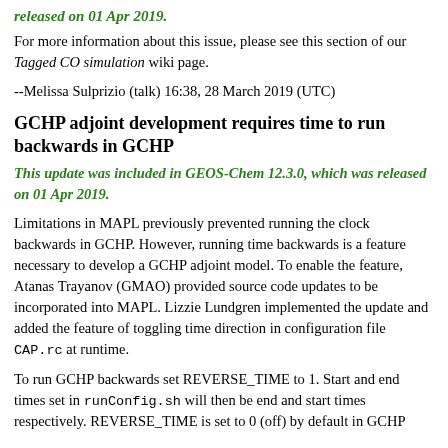released on 01 Apr 2019.
For more information about this issue, please see this section of our Tagged CO simulation wiki page.
--Melissa Sulprizio (talk) 16:38, 28 March 2019 (UTC)
GCHP adjoint development requires time to run backwards in GCHP
This update was included in GEOS-Chem 12.3.0, which was released on 01 Apr 2019.
Limitations in MAPL previously prevented running the clock backwards in GCHP. However, running time backwards is a feature necessary to develop a GCHP adjoint model. To enable the feature, Atanas Trayanov (GMAO) provided source code updates to be incorporated into MAPL. Lizzie Lundgren implemented the update and added the feature of toggling time direction in configuration file CAP.rc at runtime.
To run GCHP backwards set REVERSE_TIME to 1. Start and end times set in runConfig.sh will then be end and start times respectively. REVERSE_TIME is set to 0 (off) by default in GCHP